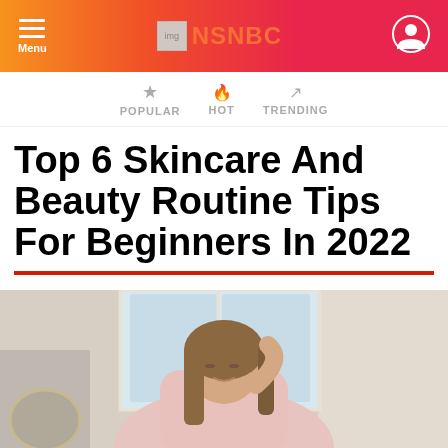Menu | NSNBC | (user icon)
POPULAR  HOT  TRENDING
Top 6 Skincare And Beauty Routine Tips For Beginners In 2022
[Figure (photo): A woman in a pink fluffy robe sitting in a bright bathroom, touching her face/hair gently, with a round gold-framed mirror and window in the background]